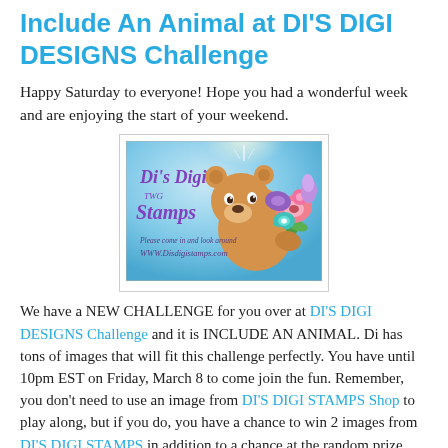Include An Animal at DI'S DIGI DESIGNS Challenge
Happy Saturday to everyone!  Hope you had a wonderful week and are enjoying the start of your weekend.
[Figure (illustration): Di's Digi Stamps promotional image featuring a cartoon bear holding flowers with text 'Di's Digi Stamps - Please come in and look around - WWW.Disdigistamps.com' on a blue background]
We have a NEW CHALLENGE for you over at DI'S DIGI DESIGNS Challenge and it is INCLUDE AN ANIMAL.  Di has tons of images that will fit this challenge perfectly.  You have until 10pm EST on Friday, March 8 to come join the fun.  Remember, you don't need to use an image from DI'S DIGI STAMPS Shop to play along, but if you do, you have a chance to win 2 images from DI'S DIGI STAMPS in addition to a chance at the random prize.  You may also use a